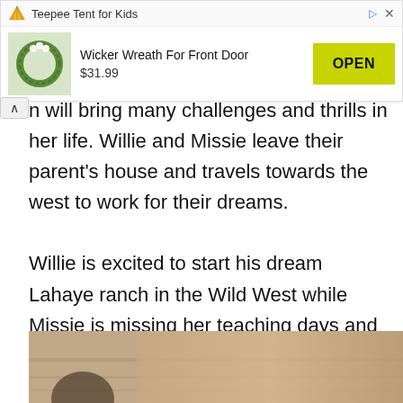[Figure (screenshot): Advertisement banner for 'Teepee Tent for Kids' showing a Wicker Wreath For Front Door product at $31.99 with an OPEN button]
n will bring many challenges and thrills in her life. Willie and Missie leave their parent's house and travels towards the west to work for their dreams.

Willie is excited to start his dream Lahaye ranch in the Wild West while Missie is missing her teaching days and her family but she has to concentrate on her pregnancy.
[Figure (photo): Partial photo at the bottom of the page showing what appears to be a wooden surface or furniture, with a person partially visible]